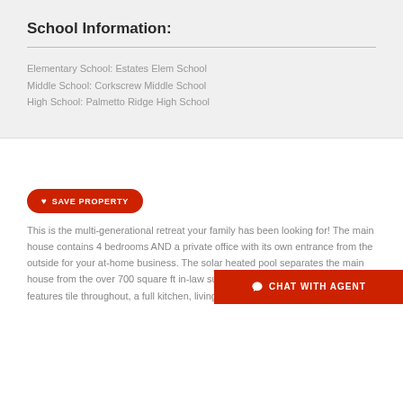School Information:
Elementary School: Estates Elem School
Middle School: Corkscrew Middle School
High School: Palmetto Ridge High School
SAVE PROPERTY
This is the multi-generational retreat your family has been looking for! The main house contains 4 bedrooms AND a private office with its own entrance from the outside for your at-home business. The solar heated pool separates the main house from the over 700 square ft in-law suite. This is a complete house which features tile throughout, a full kitchen, living screened lanai! Practice your ski
CHAT WITH AGENT